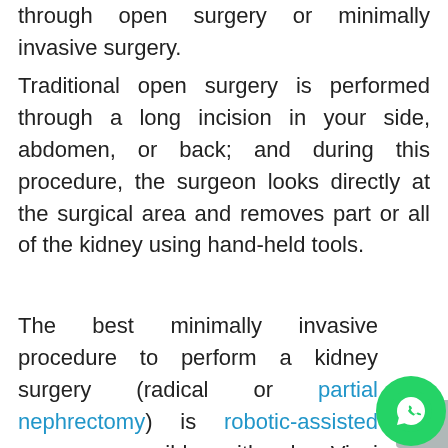through open surgery or minimally invasive surgery.
Traditional open surgery is performed through a long incision in your side, abdomen, or back; and during this procedure, the surgeon looks directly at the surgical area and removes part or all of the kidney using hand-held tools.
The best minimally invasive procedure to perform a kidney surgery (radical or partial nephrectomy) is robotic-assisted surgery, possibly with da Vinci technology.
Surgeons using the da Vinci system may be able to perform kidney surgery through few small incisions (cuts) and a 3D high definition vision system using tiny